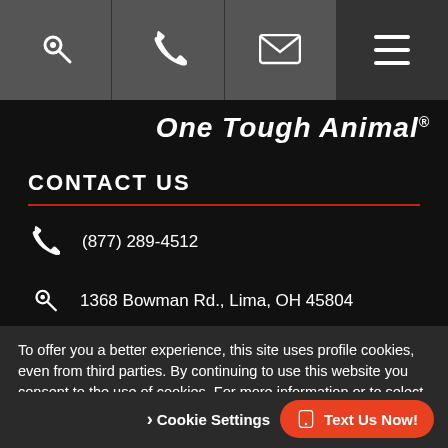[Figure (screenshot): Navigation bar with four icon buttons: location search, phone, email, and hamburger menu]
One Tough Animal.
CONTACT US
(877) 289-4512
1368 Bowman Rd., Lima, OH 45804
To offer you a better experience, this site uses profile cookies, even from third parties. By continuing to use this website you consent to the use of cookies. For more information or to select your preferences consult our Privacy Policy
Cookie Settings
Text Us Now!